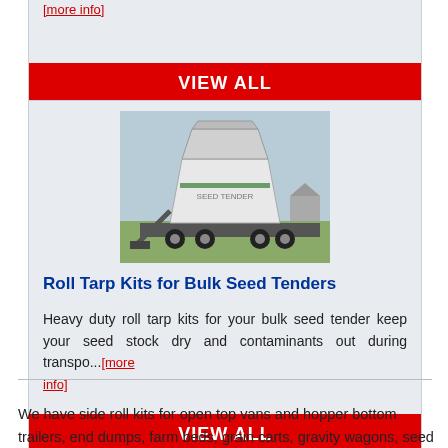[more info]
VIEW ALL
[Figure (photo): A bulk seed tender machine — a large white hopper on a flatbed trailer — photographed outdoors in a field.]
Roll Tarp Kits for Bulk Seed Tenders
Heavy duty roll tarp kits for your bulk seed tender keep your seed stock dry and contaminants out during transpo...[more info]
VIEW ALL
We have side roll kits for open top vans and hopper bottom trailers, end dumps, farm beds, grain carts, gravity wagons, seed